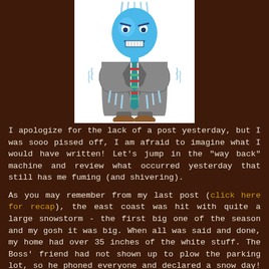[Figure (illustration): Cartoon of a blue-headed character in a gray suit with a striped tie, shivering with icicles hanging from them, arms crossed, looking cold and angry.]
I apologize for the lack of a post yesterday, but I was sooo pissed off, I am afraid to imagine what I would have written! Let's jump in the "way back" machine and review what occurred yesterday that still has me fuming (and shivering).
As you may remember from my last post (click here for recap), the east coast was hit with quite a large snowstorm - the first big one of the season and my gosh it was big. When all was said and done, my home had over 35 inches of the white stuff. The Boss' friend had not shown up to plow the parking lot, so he phoned everyone and declared a snow day! Needless to say, the warm and fuzzy feelings he generated with that kind gesture quickly disappeared...